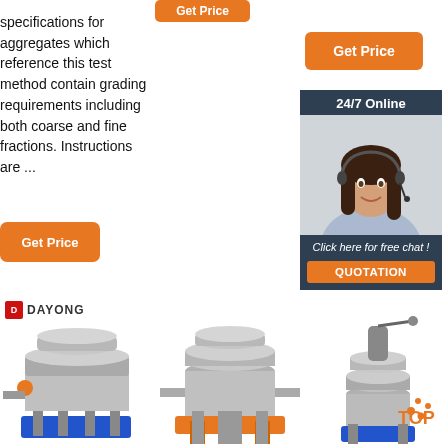[Figure (other): Orange 'Get Price' button at top center]
specifications for aggregates which reference this test method contain grading requirements including both coarse and fine fractions. Instructions are ...
[Figure (other): Orange 'Get Price' button at top right]
[Figure (other): 24/7 Online chat box with woman wearing headset, 'Click here for free chat!' text, and QUOTATION button]
[Figure (other): Orange 'Get Price' button at left]
[Figure (other): DAYONG logo label]
[Figure (photo): Industrial sieve/vibrating screen machine with blue base - DAYONG brand]
[Figure (photo): Industrial sieve/vibrating screen machine with orange base]
[Figure (photo): Industrial sieve/vibrating screen machine with blue base - TOP brand]